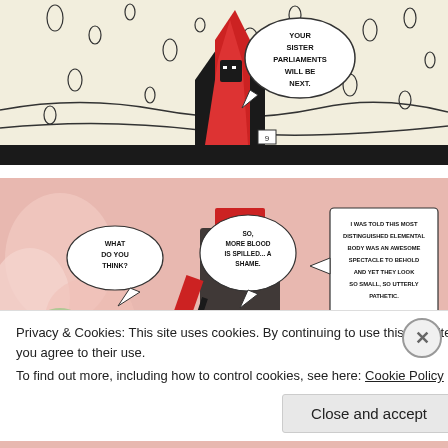[Figure (illustration): Comic book panel showing a black and red caped figure emerging from or descending into water/snow with a speech bubble saying 'YOUR SISTER PARLIAMENTS WILL BE NEXT.' Small oval bubbles scattered in the background.]
[Figure (illustration): Comic book panel showing characters with speech bubbles: 'WHAT DO YOU THINK?', 'SO, MORE BLOOD IS SPILLED... A SHAME.', and 'I WAS TOLD THIS MOST DISTINGUISHED ELEMENTAL BODY WAS AN AWESOME SPECTACLE TO BEHOLD AND YET THEY LOOK SO SMALL, SO UTTERLY PATHETIC. PERHAPS THE SENSES ARE AFFECTED BY THE PRESSURES OF THE DEEP'. Pink/red smoky background with dark figures.]
Privacy & Cookies: This site uses cookies. By continuing to use this website, you agree to their use.
To find out more, including how to control cookies, see here: Cookie Policy
Close and accept